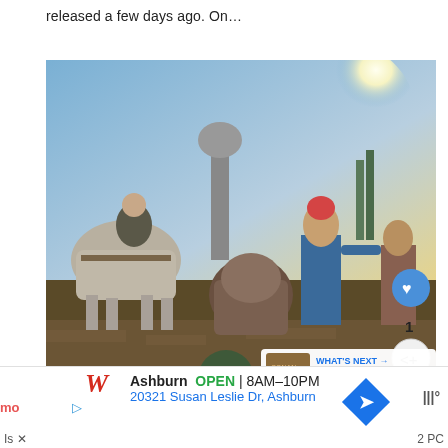released a few days ago. On...
[Figure (screenshot): Video game screenshot showing armored fantasy characters and a person on horseback in an outdoor environment with a bright sun in the background. Overlay UI elements include a heart/like button, share button, like count '1', and a 'What's Next' panel showing 'Is Conan Exiles Cross...']
Ashburn   OPEN  8AM–10PM
20321 Susan Leslie Dr, Ashburn